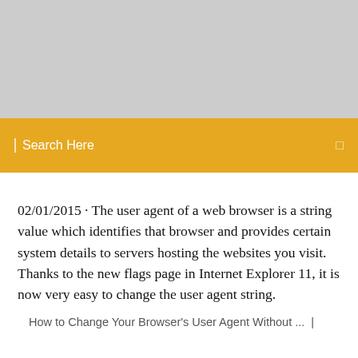[Figure (other): Gray banner placeholder image area at top of page]
Search Here
02/01/2015 · The user agent of a web browser is a string value which identifies that browser and provides certain system details to servers hosting the websites you visit. Thanks to the new flags page in Internet Explorer 11, it is now very easy to change the user agent string.
How to Change Your Browser's User Agent Without ...  |